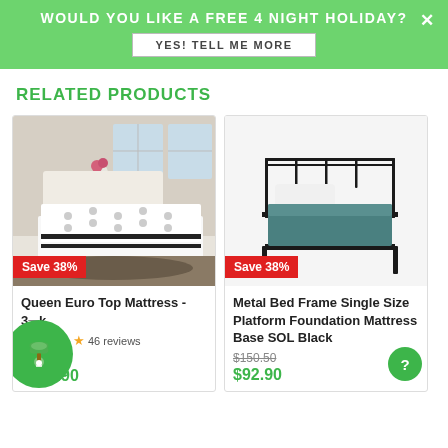WOULD YOU LIKE A FREE 4 NIGHT HOLIDAY? YES! TELL ME MORE
RELATED PRODUCTS
[Figure (photo): Queen Euro Top Mattress product photo with white mattress on platform bed in bedroom setting]
Save 38%
Queen Euro Top Mattress - 3...k
★ 46 reviews
$613.00
$378.90
[Figure (photo): Metal Bed Frame Single Size with black metal frame and teal bedding]
Save 38%
Metal Bed Frame Single Size Platform Foundation Mattress Base SOL Black
$150.50
$92.90